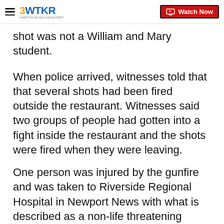3WTKR | Watch Now
shot was not a William and Mary student.
When police arrived, witnesses told that that several shots had been fired outside the restaurant. Witnesses said two groups of people had gotten into a fight inside the restaurant and the shots were fired when they were leaving.
One person was injured by the gunfire and was taken to Riverside Regional Hospital in Newport News with what is described as a non-life threatening injury.
Related Links: